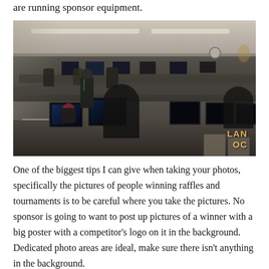are running sponsor equipment.
[Figure (photo): A large indoor LAN party event with many participants seated at long tables with computers and monitors, overhead fluorescent lighting, with a LAN OC watermark in the bottom-right corner.]
One of the biggest tips I can give when taking your photos, specifically the pictures of people winning raffles and tournaments is to be careful where you take the pictures. No sponsor is going to want to post up pictures of a winner with a big poster with a competitor's logo on it in the background. Dedicated photo areas are ideal, make sure there isn't anything in the background.